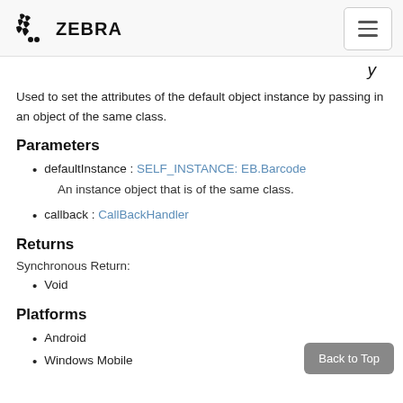ZEBRA
Used to set the attributes of the default object instance by passing in an object of the same class.
Parameters
defaultInstance : SELF_INSTANCE: EB.Barcode
An instance object that is of the same class.
callback : CallBackHandler
Returns
Synchronous Return:
Void
Platforms
Android
Windows Mobile